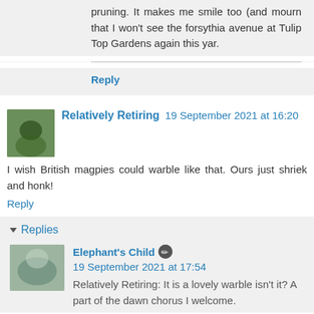pruning. It makes me smile too (and mourn that I won't see the forsythia avenue at Tulip Top Gardens again this yar.
Reply
Relatively Retiring  19 September 2021 at 16:20
I wish British magpies could warble like that. Ours just shriek and honk!
Reply
▾ Replies
Elephant's Child  19 September 2021 at 17:54
Relatively Retiring: It is a lovely warble isn't it? A part of the dawn chorus I welcome.
Reply